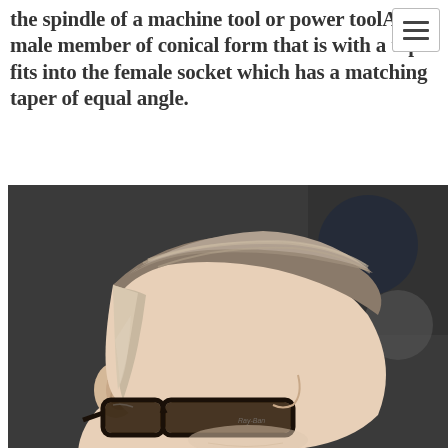the spindle of a machine tool or power toolA male member of conical form that is with a taper fits into the female socket which has a matching taper of equal angle.
[Figure (photo): Side profile photo of a man with a slicked-back undercut hairstyle and Ray-Ban glasses, taken in a barbershop setting.]